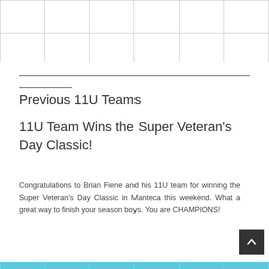|  |  |  |  |  |  |
|  |  |  |  |  |  |
Previous 11U Teams
11U Team Wins the Super Veteran's Day Classic!
Congratulations to Brian Fiene and his 11U team for winning the Super Veteran's Day Classic in Manteca this weekend. What a great way to finish your season boys. You are CHAMPIONS!
|  |  |  |  |  |  |